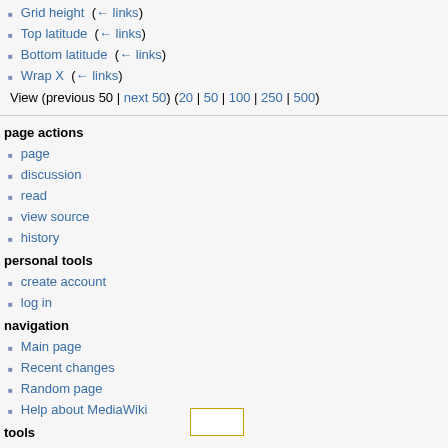Grid height  (← links)
Top latitude  (← links)
Bottom latitude  (← links)
Wrap X  (← links)
View (previous 50 | next 50) (20 | 50 | 100 | 250 | 500)
page actions
page
discussion
read
view source
history
personal tools
create account
log in
navigation
Main page
Recent changes
Random page
Help about MediaWiki
tools
Special pages
Printable version